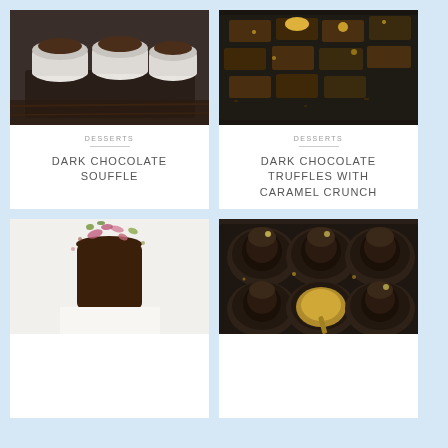[Figure (photo): Dark chocolate soufflés in white ramekins on a dark tray]
DESSERTS
DARK CHOCOLATE SOUFFLE
[Figure (photo): Dark chocolate truffles with caramel crunch on a dark baking tray]
DESSERTS
DARK CHOCOLATE TRUFFLES WITH CARAMEL CRUNCH
[Figure (photo): Chocolate-dipped ice cream bar on a stick decorated with rose petals and pistachios]
[Figure (photo): Chocolate truffles in a dark muffin tray with a spoon and gold dust]